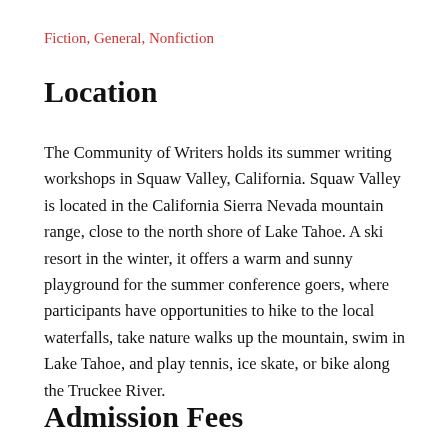Fiction, General, Nonfiction
Location
The Community of Writers holds its summer writing workshops in Squaw Valley, California. Squaw Valley is located in the California Sierra Nevada mountain range, close to the north shore of Lake Tahoe. A ski resort in the winter, it offers a warm and sunny playground for the summer conference goers, where participants have opportunities to hike to the local waterfalls, take nature walks up the mountain, swim in Lake Tahoe, and play tennis, ice skate, or bike along the Truckee River.
Admission Fees